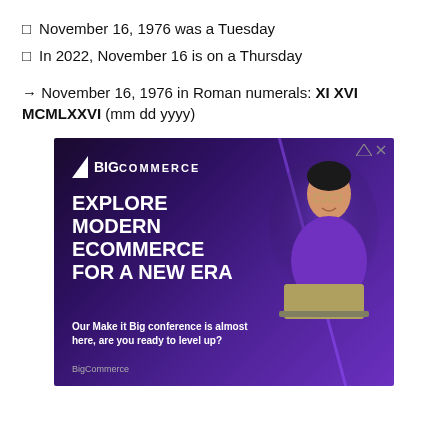☑ November 16, 1976 was a Tuesday
☑ In 2022, November 16 is on a Thursday
→ November 16, 1976 in Roman numerals: XI XVI MCMLXXVI (mm dd yyyy)
[Figure (photo): BigCommerce advertisement with dark purple background, person in purple sweater working on laptop, text reading EXPLORE MODERN ECOMMERCE FOR A NEW ERA and Our Make it Big conference is almost here, are you ready to level up?]